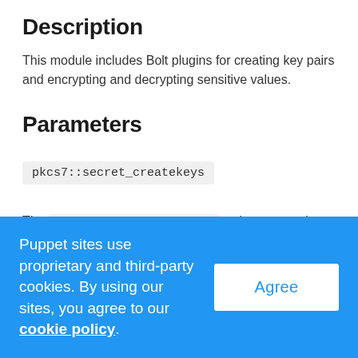Description
This module includes Bolt plugins for creating key pairs and encrypting and decrypting sensitive values.
Parameters
pkcs7::secret_createkeys
The pkcs7::secret_createkeys task creates a key pair used to encrypt and decrypt values. It accepts the following
Puppet sites use proprietary and third-party cookies. By using our sites, you agree to our cookie policy.